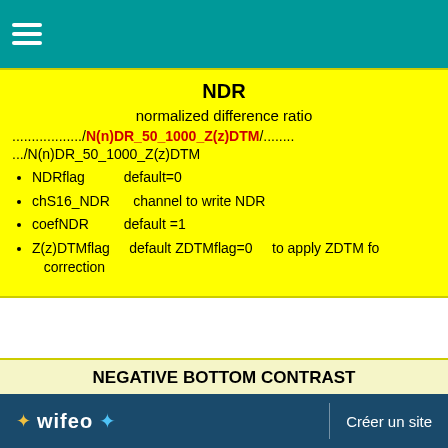≡ (hamburger menu)
NDR
normalized difference ratio
............../N(n)DR_50_1000_Z(z)DTM/........
.../N(n)DR_50_1000_Z(z)DTM
NDRflag        default=0
chS16_NDR      channel to write NDR
coefNDR        default =1
Z(z)DTMflag    default ZDTMflag=0    to apply ZDTM fo correction
NEGATIVE BOTTOM CONTRAST
........../N_3/..........
/n_8    default    Negflag=0    ....negative disabled
(N...    Negflag...    negative